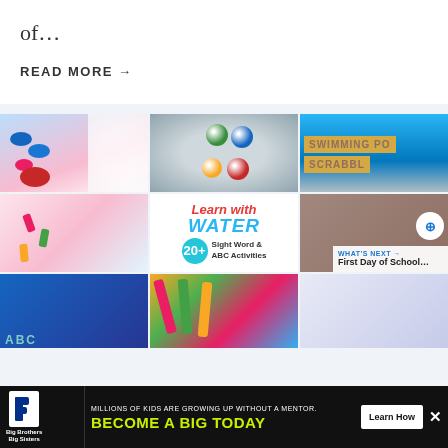of…
READ MORE →
[Figure (photo): A 3x3 grid of educational activity images including colorful candies/cotton, colored balls in water, Swimming Pool Scrabble, colorful clips, 'Learn with WATER 20+ Sight Word & ABC Activities' graphic, wooden fence activity, ABC letter tray, colorful markers, and educational materials.]
WHAT'S NEXT → First Day of School…
MILLIONS OF KIDS ARE GROWING UP WITHOUT A MENTOR. BECOME A BIG TODAY
Learn How